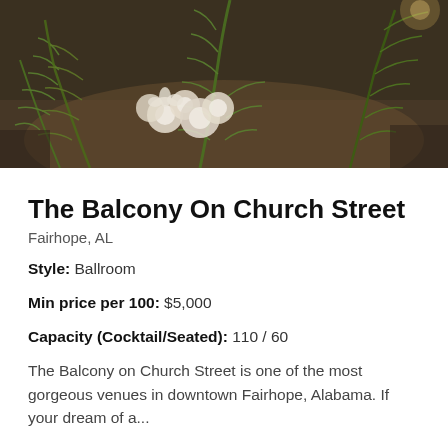[Figure (photo): Photo of floral arrangement with white flowers and green ferns in an event venue setting]
The Balcony On Church Street
Fairhope, AL
Style: Ballroom
Min price per 100: $5,000
Capacity (Cocktail/Seated): 110 / 60
The Balcony on Church Street is one of the most gorgeous venues in downtown Fairhope, Alabama. If your dream of a...
« Previous
Next Page »